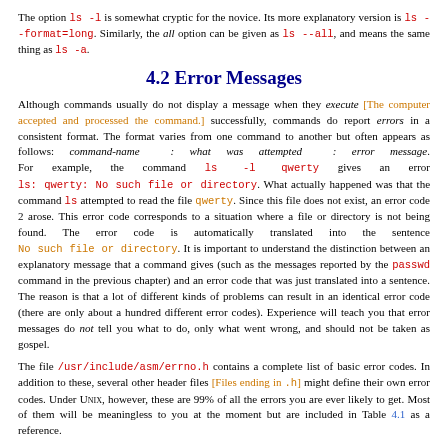The option ls -l is somewhat cryptic for the novice. Its more explanatory version is ls --format=long. Similarly, the all option can be given as ls --all, and means the same thing as ls -a.
4.2 Error Messages
Although commands usually do not display a message when they execute [The computer accepted and processed the command.] successfully, commands do report errors in a consistent format. The format varies from one command to another but often appears as follows: command-name : what was attempted : error message. For example, the command ls -l qwerty gives an error ls: qwerty: No such file or directory. What actually happened was that the command ls attempted to read the file qwerty. Since this file does not exist, an error code 2 arose. This error code corresponds to a situation where a file or directory is not being found. The error code is automatically translated into the sentence No such file or directory. It is important to understand the distinction between an explanatory message that a command gives (such as the messages reported by the passwd command in the previous chapter) and an error code that was just translated into a sentence. The reason is that a lot of different kinds of problems can result in an identical error code (there are only about a hundred different error codes). Experience will teach you that error messages do not tell you what to do, only what went wrong, and should not be taken as gospel.
The file /usr/include/asm/errno.h contains a complete list of basic error codes. In addition to these, several other header files [Files ending in .h] might define their own error codes. Under UNIX, however, these are 99% of all the errors you are ever likely to get. Most of them will be meaningless to you at the moment but are included in Table 4.1 as a reference.